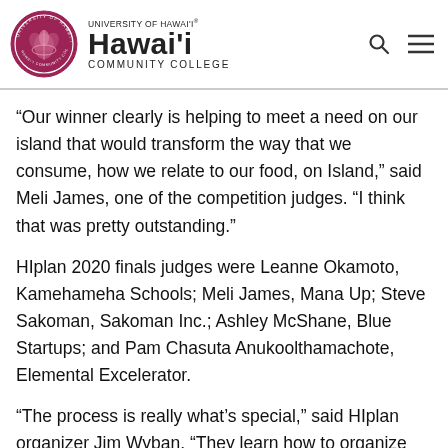[Figure (logo): University of Hawai'i Hawai'i Community College logo with circular seal and text]
“Our winner clearly is helping to meet a need on our island that would transform the way that we consume, how we relate to our food, on Island,” said Meli James, one of the competition judges. “I think that was pretty outstanding.”
HIplan 2020 finals judges were Leanne Okamoto, Kamehameha Schools; Meli James, Mana Up; Steve Sakoman, Sakoman Inc.; Ashley McShane, Blue Startups; and Pam Chasuta Anukoolthamachote, Elemental Excelerator.
“The process is really what’s special,” said HIplan organizer Jim Wyban. “They learn how to organize their thoughts into a coherent business plan, with a lot of feedback from us.